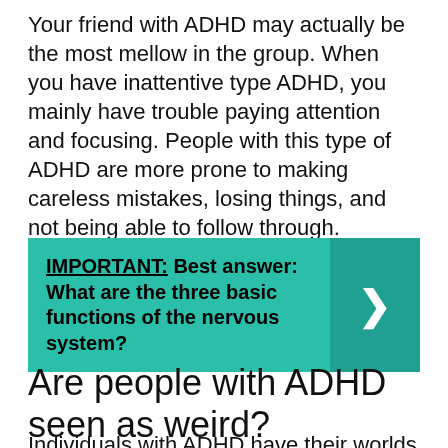Your friend with ADHD may actually be the most mellow in the group. When you have inattentive type ADHD, you mainly have trouble paying attention and focusing. People with this type of ADHD are more prone to making careless mistakes, losing things, and not being able to follow through.
[Figure (infographic): Teal/green callout box with bold text: 'IMPORTANT: Best answer: What are the three basic functions of the nervous system?' with a right-facing chevron arrow on a darker teal background on the right side.]
Are people with ADHD seen as weird?
Individuals with ADHD have their worlds constantly disrupted by experiences of which